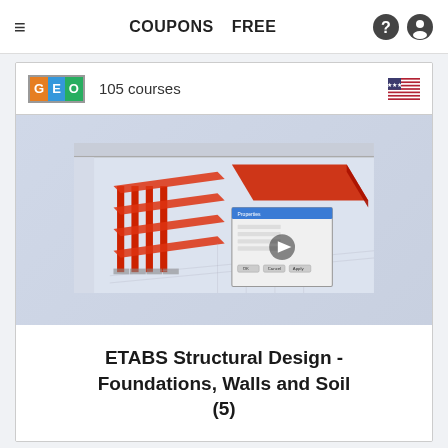COUPONS   FREE
GEO  105 courses
[Figure (screenshot): Screenshot of ETABS structural engineering software showing a 3D model of a building structure with red columns and foundation elements, with a dialog box overlay and a play button indicating a video thumbnail]
ETABS Structural Design - Foundations, Walls and Soil (5)
5 students   1.5 hours content   Feb 2022 updated